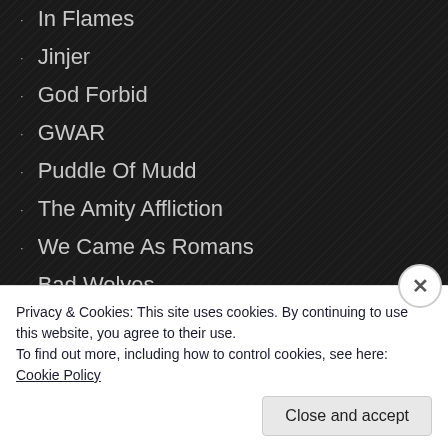In Flames
Jinjer
God Forbid
GWAR
Puddle Of Mudd
The Amity Affliction
We Came As Romans
Bad Wolves
Silverstein
Kittie
Shadows Fall
Story Of The Year
All That Remains
Privacy & Cookies: This site uses cookies. By continuing to use this website, you agree to their use.
To find out more, including how to control cookies, see here: Cookie Policy
Close and accept